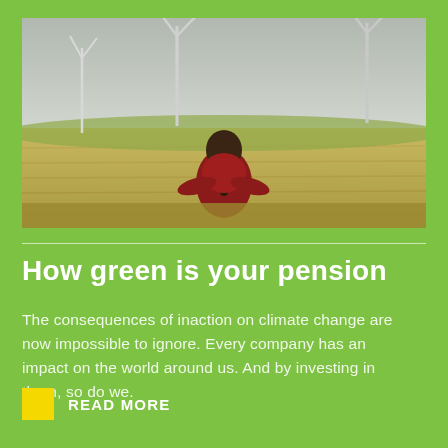[Figure (photo): A child in a red jacket sitting in a green wheat/grain field with multiple wind turbines in the background under an overcast sky]
How green is your pension
The consequences of inaction on climate change are now impossible to ignore. Every company has an impact on the world around us. And by investing in them, so do we.
READ MORE